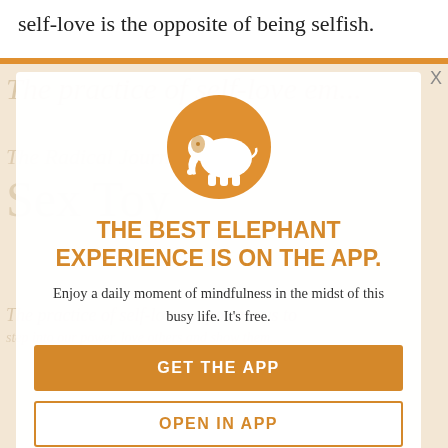self-love is the opposite of being selfish.
[Figure (screenshot): App promotional modal overlay with elephant logo, headline 'THE BEST ELEPHANT EXPERIENCE IS ON THE APP.', description text, and two buttons: GET THE APP and OPEN IN APP]
THE BEST ELEPHANT EXPERIENCE IS ON THE APP.
Enjoy a daily moment of mindfulness in the midst of this busy life. It's free.
GET THE APP
OPEN IN APP